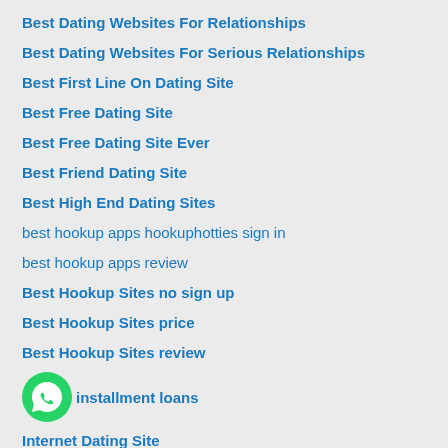Best Dating Websites For Relationships
Best Dating Websites For Serious Relationships
Best First Line On Dating Site
Best Free Dating Site
Best Free Dating Site Ever
Best Friend Dating Site
Best High End Dating Sites
best hookup apps hookuphotties sign in
best hookup apps review
Best Hookup Sites no sign up
Best Hookup Sites price
Best Hookup Sites review
installment loans
Internet Dating Site
Best Married Dating Site